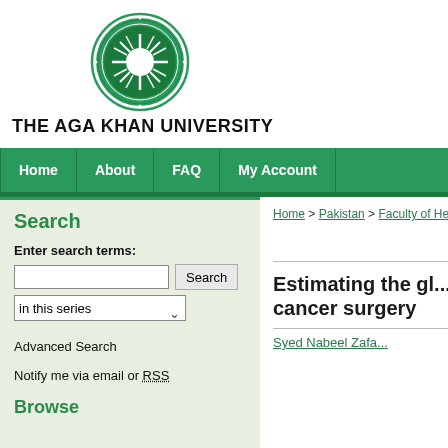[Figure (logo): Aga Khan University circular green logo with radiating sun pattern and decorative border]
THE AGA KHAN UNIVERSITY
Home | About | FAQ | My Account
Search
Enter search terms:
in this series
Advanced Search
Notify me via email or RSS
Browse
Home > Pakistan > Faculty of Hea...
Estimating the gl... cancer surgery
Syed Nabeel Zafa...